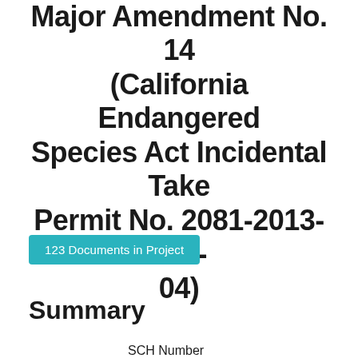Major Amendment No. 14 (California Endangered Species Act Incidental Take Permit No. 2081-2013-025-04)
123 Documents in Project
Summary
SCH Number